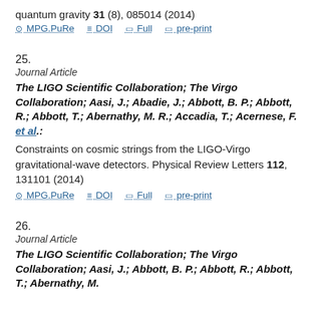quantum gravity 31 (8), 085014 (2014)
MPG.PuRe  DOI  Full  pre-print
25.
Journal Article
The LIGO Scientific Collaboration; The Virgo Collaboration; Aasi, J.; Abadie, J.; Abbott, B. P.; Abbott, R.; Abbott, T.; Abernathy, M. R.; Accadia, T.; Acernese, F. et al.:
Constraints on cosmic strings from the LIGO-Virgo gravitational-wave detectors. Physical Review Letters 112, 131101 (2014)
MPG.PuRe  DOI  Full  pre-print
26.
Journal Article
The LIGO Scientific Collaboration; The Virgo Collaboration; Aasi, J.; Abbott, B. P.; Abbott, R.; Abbott, T.; Abernathy, M.